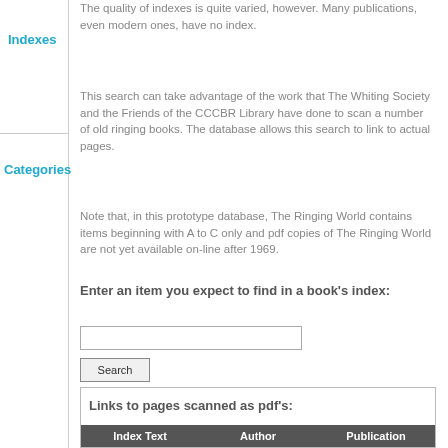Indexes
The quality of indexes is quite varied, however. Many publications, even modern ones, have no index.
Categories
This search can take advantage of the work that The Whiting Society and the Friends of the CCCBR Library have done to scan a number of old ringing books. The database allows this search to link to actual pages.
Note that, in this prototype database, The Ringing World contains items beginning with A to C only and pdf copies of The Ringing World are not yet available on-line after 1969.
Enter an item you expect to find in a book's index:
| Index Text | Author | Publication |
| --- | --- | --- |